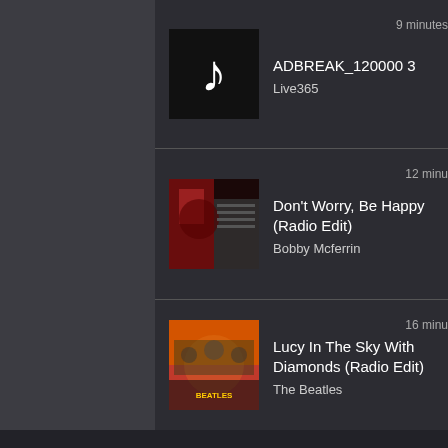ADBREAK_120000 3 | Live365 | 9 minutes
Don't Worry, Be Happy (Radio Edit) | Bobby Mcferrin | 12 minutes
Lucy In The Sky With Diamonds (Radio Edit) | The Beatles | 16 minutes
Today In History...
- March 05, 2020
In 1766 Spanish official Do Antonio de Ulloa arrives in New Orleans to take possession of the Louisiana Territory from